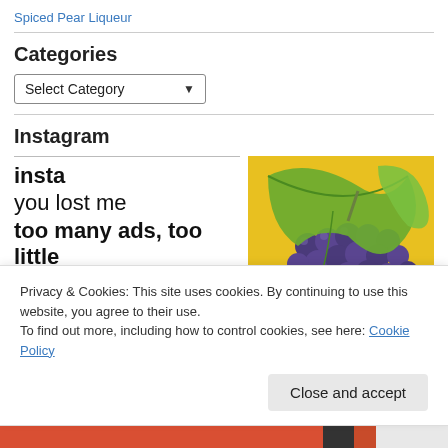Spiced Pear Liqueur
Categories
Select Category
Instagram
insta
you lost me
too many ads, too little
[Figure (photo): Blue/purple grapes with green grape leaves on a yellow background]
Privacy & Cookies: This site uses cookies. By continuing to use this website, you agree to their use.
To find out more, including how to control cookies, see here: Cookie Policy
Close and accept